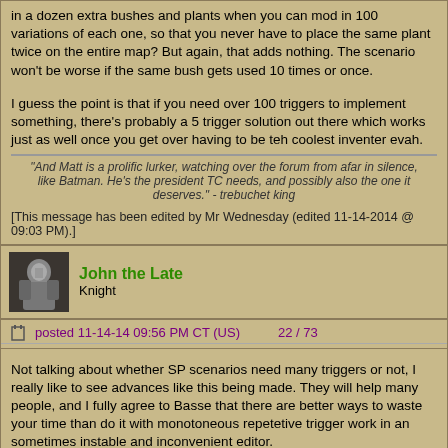in a dozen extra bushes and plants when you can mod in 100 variations of each one, so that you never have to place the same plant twice on the entire map? But again, that adds nothing. The scenario won't be worse if the same bush gets used 10 times or once.
I guess the point is that if you need over 100 triggers to implement something, there's probably a 5 trigger solution out there which works just as well once you get over having to be teh coolest inventer evah.
"And Matt is a prolific lurker, watching over the forum from afar in silence, like Batman. He's the president TC needs, and possibly also the one it deserves." - trebuchet king
[This message has been edited by Mr Wednesday (edited 11-14-2014 @ 09:03 PM).]
John the Late
Knight
posted 11-14-14 09:56 PM CT (US)    22 / 73
Not talking about whether SP scenarios need many triggers or not, I really like to see advances like this being made. They will help many people, and I fully agree to Basse that there are better ways to waste your time than do it with monotoneous repetetive trigger work in an sometimes instable and inconvenient editor.
That MP map making can greatly benefit from this is yet another (probably undisputed) thing.
Keep it up guys!